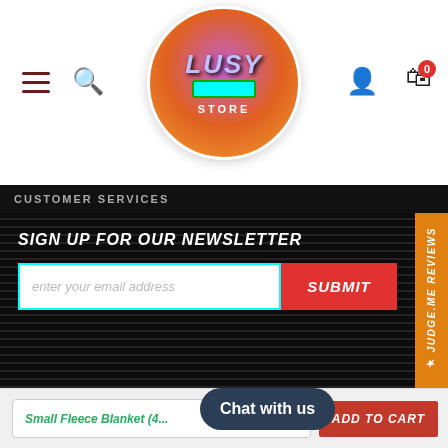[Figure (logo): Lusy Store circular logo with purple/pink/orange gradient background and cyan text]
CUSTOMER SERVICES
SIGN UP FOR OUR NEWSLETTER
enter your email address
SUBMIT
★ JUDGE.ME REVIEWS
The cookie settings on this website are set to 'allow all cookies' to give you the very best experience. Please click Accept Cookies to continue to use the site.
PRIVACY POLICY
ACCEPT COOKIES
Chat with us
Small Fleece Blanket (4...
ADD TO CART